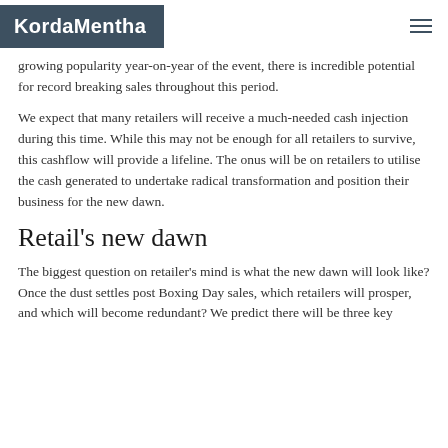KordaMentha
growing popularity year-on-year of the event, there is incredible potential for record breaking sales throughout this period.
We expect that many retailers will receive a much-needed cash injection during this time. While this may not be enough for all retailers to survive, this cashflow will provide a lifeline. The onus will be on retailers to utilise the cash generated to undertake radical transformation and position their business for the new dawn.
Retail's new dawn
The biggest question on retailer's mind is what the new dawn will look like? Once the dust settles post Boxing Day sales, which retailers will prosper, and which will become redundant? We predict there will be three key